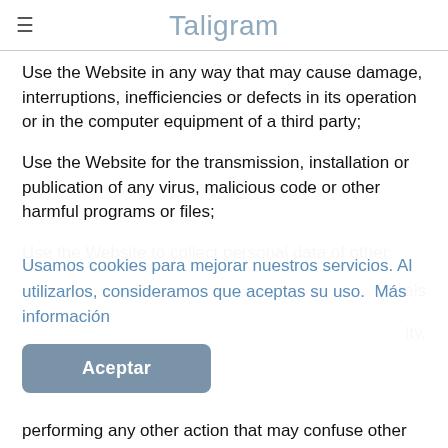Taligram
Use the Website in any way that may cause damage, interruptions, inefficiencies or defects in its operation or in the computer equipment of a third party;
Use the Website for the transmission, installation or publication of any virus, malicious code or other harmful programs or files;
Use the Website to collect personal data of other [users] or [morals] [and to engage in conduct that may be considered to violate dignity, privacy, integrity,]
performing any other action that may confuse other
Usamos cookies para mejorar nuestros servicios. Al utilizarlos, consideramos que aceptas su uso.  Más información
Aceptar